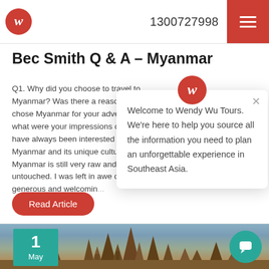1300727998
Bec Smith Q & A – Myanmar
Q1. Why did you choose to travel to Myanmar? Was there a reason you chose Myanmar for your adventure, what were your impressions overall? I have always been interested in Myanmar and its unique culture. Myanmar is still very raw and untouched. I was left in awe of the generous and welcomin...
Read Article
Welcome to Wendy Wu Tours. We're here to help you source all the information you need to plan an unforgettable experience in Southeast Asia.
[Figure (photo): Temple silhouettes at dusk with mountains in background, date badge showing 1 May in teal]
1 May